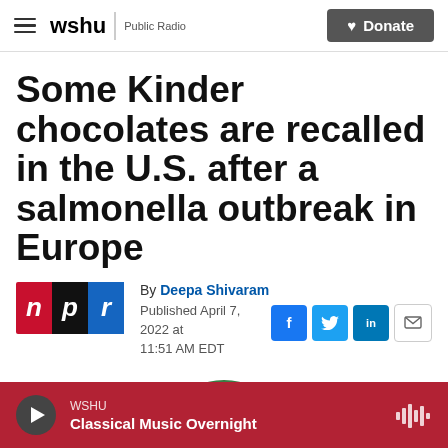wshu | Public Radio — Donate
Some Kinder chocolates are recalled in the U.S. after a salmonella outbreak in Europe
[Figure (logo): NPR logo with red N, black P, blue R blocks]
By Deepa Shivaram
Published April 7, 2022 at 11:51 AM EDT
[Figure (infographic): Social sharing buttons: Facebook, Twitter, LinkedIn, Email]
WSHU — Classical Music Overnight (audio player)